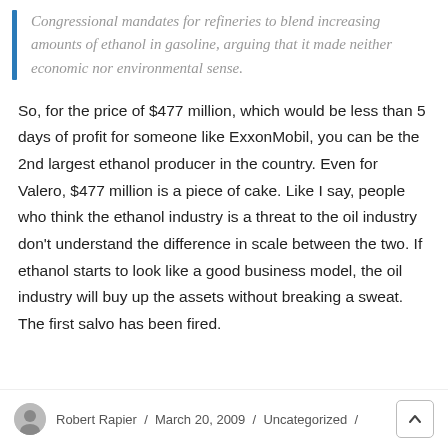Congressional mandates for refineries to blend increasing amounts of ethanol in gasoline, arguing that it made neither economic nor environmental sense.
So, for the price of $477 million, which would be less than 5 days of profit for someone like ExxonMobil, you can be the 2nd largest ethanol producer in the country. Even for Valero, $477 million is a piece of cake. Like I say, people who think the ethanol industry is a threat to the oil industry don't understand the difference in scale between the two. If ethanol starts to look like a good business model, the oil industry will buy up the assets without breaking a sweat. The first salvo has been fired.
Robert Rapier / March 20, 2009 / Uncategorized /